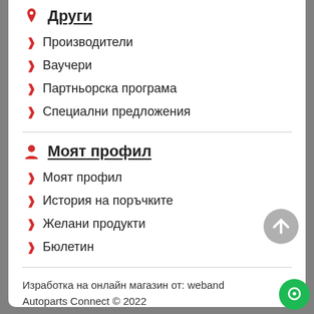Други
Производители
Ваучери
Партньорска програма
Специални предложения
Моят профил
Моят профил
История на поръчките
Желани продукти
Бюлетин
Изработка на онлайн магазин от: weband
Autoparts Connect © 2022